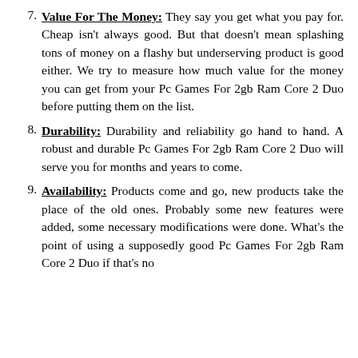7. Value For The Money: They say you get what you pay for. Cheap isn't always good. But that doesn't mean splashing tons of money on a flashy but underserving product is good either. We try to measure how much value for the money you can get from your Pc Games For 2gb Ram Core 2 Duo before putting them on the list.
8. Durability: Durability and reliability go hand to hand. A robust and durable Pc Games For 2gb Ram Core 2 Duo will serve you for months and years to come.
9. Availability: Products come and go, new products take the place of the old ones. Probably some new features were added, some necessary modifications were done. What's the point of using a supposedly good Pc Games For 2gb Ram Core 2 Duo if that's no